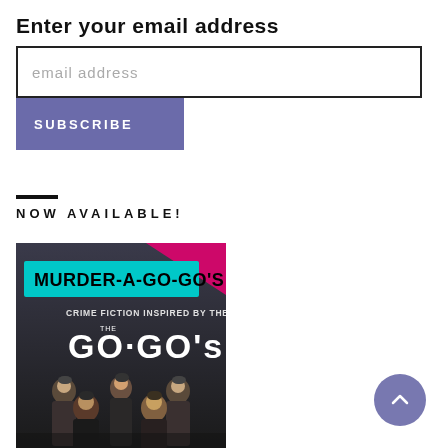Enter your email address
email address
SUBSCRIBE
NOW AVAILABLE!
[Figure (illustration): Book cover for 'Murder-A-Go-Go's: Crime Fiction Inspired by the Music of The Go-Go's', showing illustrated figures of women in dark clothing on a moody background with cyan and pink banner text.]